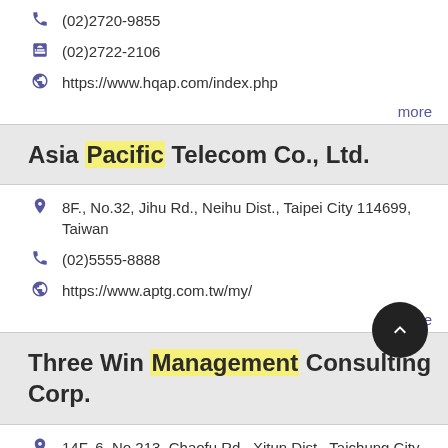(02)2720-9855
(02)2722-2106
https://www.hqap.com/index.php
more
Asia Pacific Telecom Co., Ltd.
8F., No.32, Jihu Rd., Neihu Dist., Taipei City 114699, Taiwan
(02)5555-8888
https://www.aptg.com.tw/my/
more
Three Win Management Consulting Corp.
14F.-6, No.213, Chaofu Rd., Xitun Dist., Taichung City 407609, Taiwan